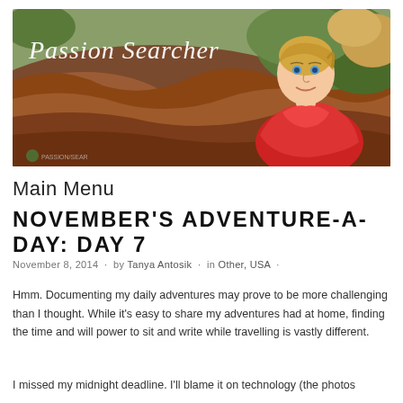[Figure (illustration): Blog header banner for 'Passion Searcher' showing a watercolor-style painting of a smiling blonde woman in a red jacket against a landscape of earthy red-brown hills and green foliage. White cursive text reads 'Passion Searcher' in the upper left. Small logo/watermark in lower left.]
Main Menu
NOVEMBER'S ADVENTURE-A-DAY: DAY 7
November 8, 2014 · by Tanya Antosik · in Other, USA ·
Hmm. Documenting my daily adventures may prove to be more challenging than I thought. While it's easy to share my adventures had at home, finding the time and will power to sit and write while travelling is vastly different.
I missed my midnight deadline. I'll blame it on technology (the photos